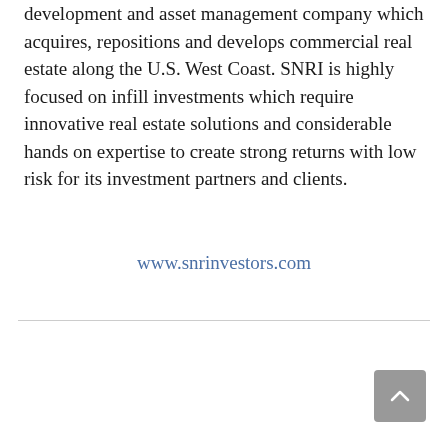development and asset management company which acquires, repositions and develops commercial real estate along the U.S. West Coast. SNRI is highly focused on infill investments which require innovative real estate solutions and considerable hands on expertise to create strong returns with low risk for its investment partners and clients.
www.snrinvestors.com